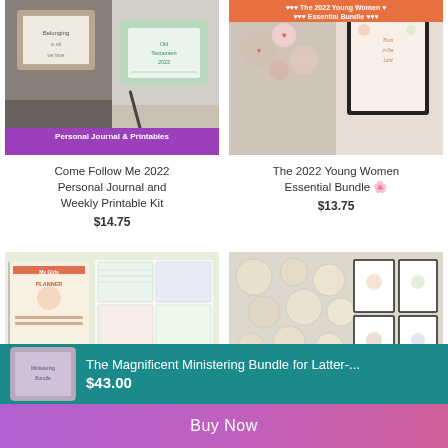[Figure (screenshot): Product listing: Come Follow Me 2022 Personal Journal and Weekly Printable Kit with purple banner]
Come Follow Me 2022 Personal Journal and Weekly Printable Kit
$14.75
[Figure (screenshot): Product listing: The 2022 Young Women Essential Bundle with orange/red banner]
The 2022 Young Women Essential Bundle 🌸
$13.75
[Figure (screenshot): Product listing: The 2022 Young Women Add-On Kit with orange banner]
[Figure (screenshot): Product listing: The Massive Old Testament Inspirational Printable Bundle with coral banner]
The Magnificent Ministering Bundle for Latter-...
$43.00
Buy Now